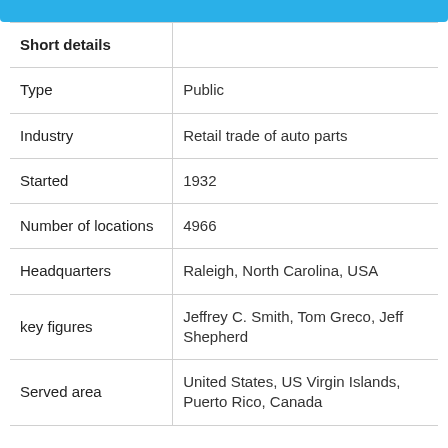| Short details |  |
| --- | --- |
| Type | Public |
| Industry | Retail trade of auto parts |
| Started | 1932 |
| Number of locations | 4966 |
| Headquarters | Raleigh, North Carolina, USA |
| key figures | Jeffrey C. Smith, Tom Greco, Jeff Shepherd |
| Served area | United States, US Virgin Islands, Puerto Rico, Canada |